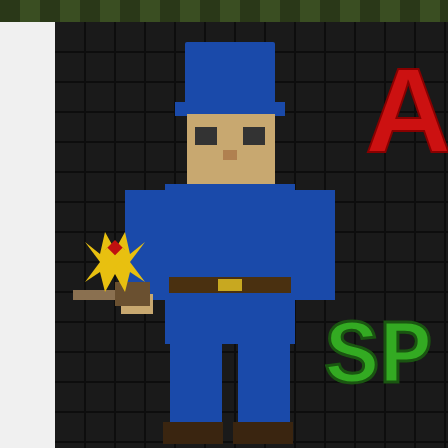[Figure (screenshot): Game forum banner showing a blocky/voxel-style blue soldier character holding a weapon with yellow star burst, red letter 'A' and green letters 'SP' on dark pixel-art background. Shows Ace of Spades game branding.]
FAQ
Board index ‹ Main ‹ Official
Note: This forum is merely an archive. It... New Ace of Spade...
Click here for a message from o...
Official
Forum rules